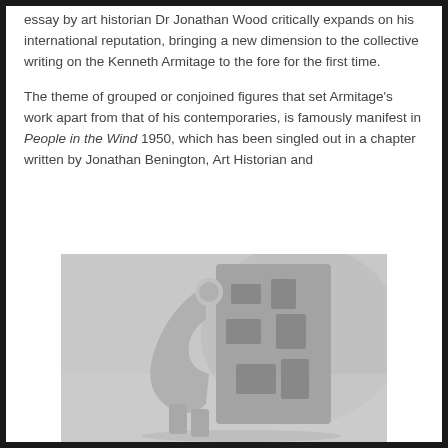essay by art historian Dr Jonathan Wood critically expands on his international reputation, bringing a new dimension to the collective writing on the Kenneth Armitage to the fore for the first time.
The theme of grouped or conjoined figures that set Armitage's work apart from that of his contemporaries, is famously manifest in People in the Wind 1950, which has been singled out in a chapter written by Jonathan Benington, Art Historian and
[Figure (photo): Black and white photograph of a Kenneth Armitage sculpture - People in the Wind 1950, showing abstract conjoined human figures in metal with cutout negative spaces]